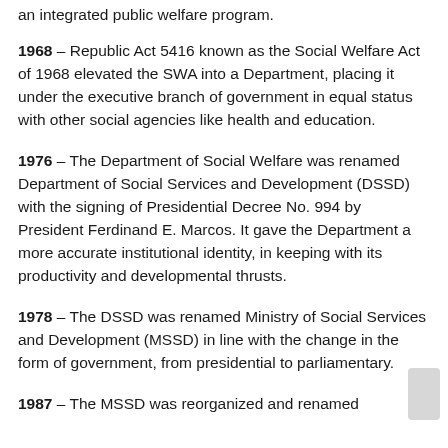an integrated public welfare program.
1968 – Republic Act 5416 known as the Social Welfare Act of 1968 elevated the SWA into a Department, placing it under the executive branch of government in equal status with other social agencies like health and education.
1976 – The Department of Social Welfare was renamed Department of Social Services and Development (DSSD) with the signing of Presidential Decree No. 994 by President Ferdinand E. Marcos. It gave the Department a more accurate institutional identity, in keeping with its productivity and developmental thrusts.
1978 – The DSSD was renamed Ministry of Social Services and Development (MSSD) in line with the change in the form of government, from presidential to parliamentary.
1987 – The MSSD was reorganized and renamed